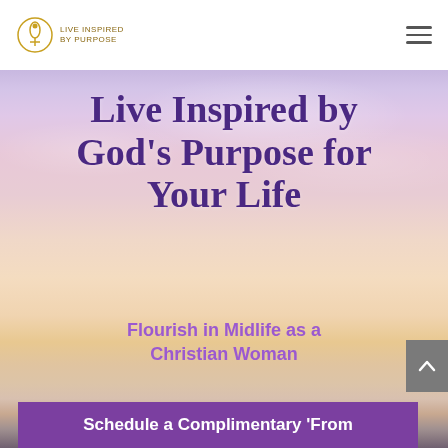[Figure (logo): Live Inspired by Purpose logo with circular icon and text]
Live Inspired by God's Purpose for Your Life
Flourish in Midlife as a Christian Woman
Schedule a Complimentary 'From